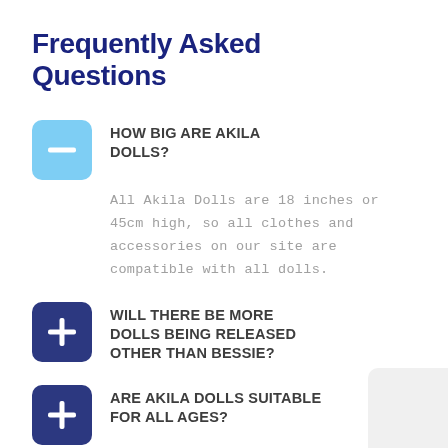Frequently Asked Questions
HOW BIG ARE AKILA DOLLS?
All Akila Dolls are 18 inches or 45cm high, so all clothes and accessories on our site are compatible with all dolls.
WILL THERE BE MORE DOLLS BEING RELEASED OTHER THAN BESSIE?
ARE AKILA DOLLS SUITABLE FOR ALL AGES?